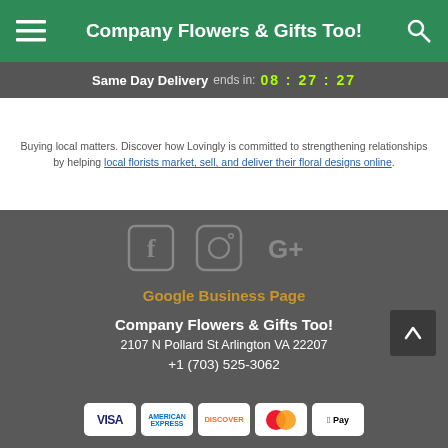Company Flowers & Gifts Too!
Same Day Delivery ends in: 08 : 27 : 27
Buying local matters. Discover how Lovingly is committed to strengthening relationships by helping local florists market, sell, and deliver their floral designs online.
[Figure (illustration): Social media icons: Facebook, Instagram, Google+]
Google Business Page
Company Flowers & Gifts Too!
2107 N Pollard St Arlington VA 22207
+1 (703) 525-3062
[Figure (illustration): Payment method icons: Visa, American Express, Discover, MasterCard, Apple Pay]